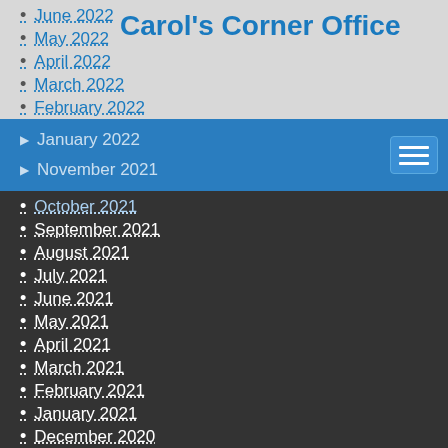Carol's Corner Office
June 2022
May 2022
April 2022
March 2022
February 2022
January 2022
November 2021
October 2021
September 2021
August 2021
July 2021
June 2021
May 2021
April 2021
March 2021
February 2021
January 2021
December 2020
November 2020
October 2020
September 2020
August 2020